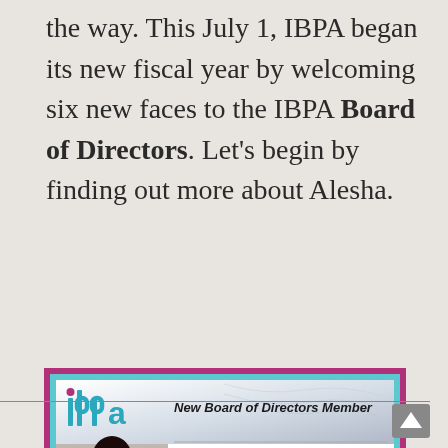the way. This July 1, IBPA began its new fiscal year by welcoming six new faces to the IBPA Board of Directors. Let's begin by finding out more about Alesha.
[Figure (other): IBPA New Board of Directors Member announcement card for Alesha Brown, Fruition Publishing Concierge Services. Card has magenta outer border, cyan inner border, IBPA logo in teal with magenta dot, photo of Alesha Brown.]